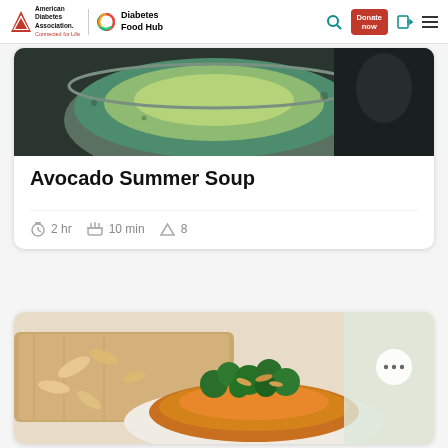American Diabetes Association Connected for Life | Diabetes Food Hub | Search | Donate now | Login | Menu
[Figure (photo): Close-up photo of an avocado summer soup in a speckled ceramic bowl, showing a green avocado half with creamy texture on a dark background]
Avocado Summer Soup
2 hr  10 min  8
[Figure (photo): Photo of a baked sweet potato topped with broccoli florets and sliced almonds on a plate, with a wooden cutting board and almonds in the background]